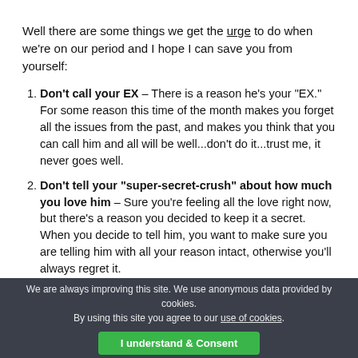Well there are some things we get the urge to do when we're on our period and I hope I can save you from yourself:
Don't call your EX – There is a reason he's your "EX." For some reason this time of the month makes you forget all the issues from the past, and makes you think that you can call him and all will be well...don't do it...trust me, it never goes well.
Don't tell your "super-secret-crush" about how much you love him – Sure you're feeling all the love right now, but there's a reason you decided to keep it a secret. When you decide to tell him, you want to make sure you are telling him with all your reason intact, otherwise you'll always regret it.
Don't watch romantic movies (read romantic books, or listen to romantic music) – Now ladies you know how romantic movies make you wish you had someone to
We are always improving this site. We use anonymous data provided by cookies. By using this site you agree to our use of cookies. I understand & Consent